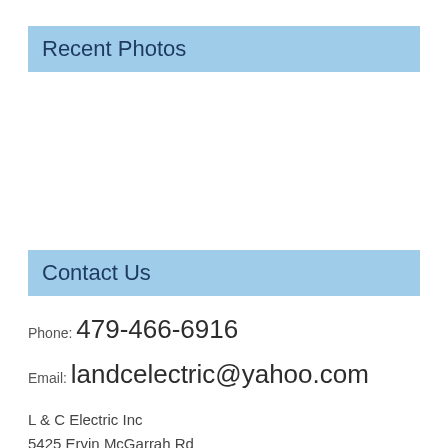Recent Photos
Contact Us
Phone: 479-466-6916
Email: landcelectric@yahoo.com
L & C Electric Inc
5425 Ervin McGarrah Rd